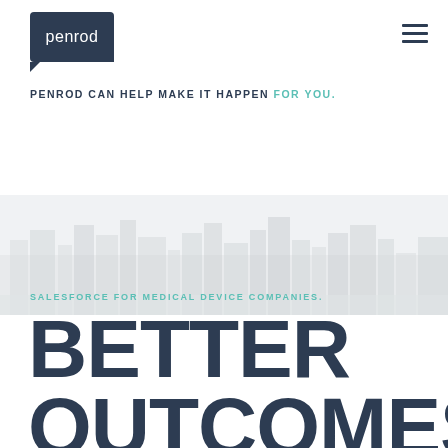[Figure (logo): Penrod logo: dark navy rounded rectangle with white lowercase 'penrod' text, speech-bubble style with tail at bottom-left]
[Figure (other): Hamburger menu icon (three horizontal lines) in top right corner]
PENROD CAN HELP MAKE IT HAPPEN FOR YOU.
[Figure (photo): Faded light gray cityscape/skyline silhouette background image spanning full width]
SALESFORCE FOR MEDICAL DEVICE COMPANIES.
BETTER OUTCOMES